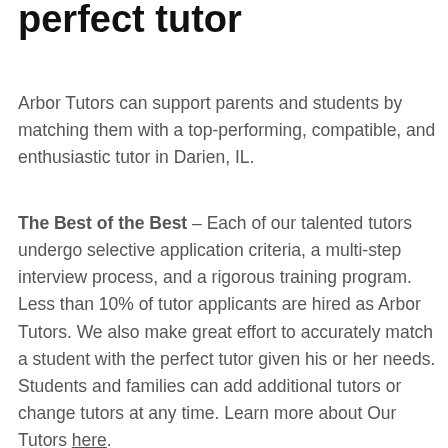perfect tutor
Arbor Tutors can support parents and students by matching them with a top-performing, compatible, and enthusiastic tutor in Darien, IL.
The Best of the Best – Each of our talented tutors undergo selective application criteria, a multi-step interview process, and a rigorous training program. Less than 10% of tutor applicants are hired as Arbor Tutors. We also make great effort to accurately match a student with the perfect tutor given his or her needs. Students and families can add additional tutors or change tutors at any time. Learn more about Our Tutors here.